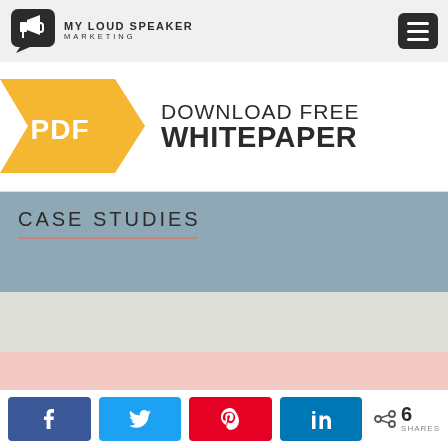MY LOUD SPEAKER MARKETING
[Figure (illustration): PDF download free whitepaper banner with yellow arrow graphic and PDF label]
CASE STUDIES
[Figure (photo): Case study image preview showing textured white/paper background with pink overlay area]
Share buttons: Facebook, Twitter, Pinterest, LinkedIn — 6 SHARES